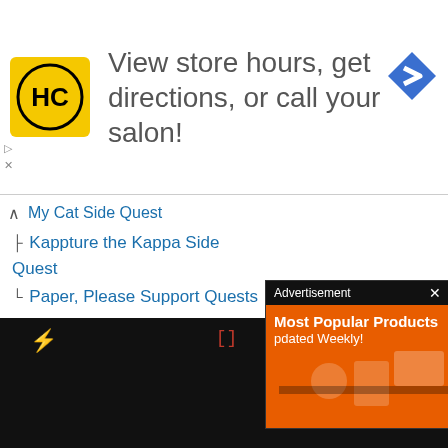[Figure (infographic): HC salon logo banner ad: yellow square logo with HC letters, text 'View store hours, get directions, or call your salon!' and blue navigation arrow icon]
My Cat Side Quest
Kappture the Kappa Side Quest
Paper, Please Support Quests
Part-Time Hero Side Quests
Insect Collection Side Quest
Prize Collection Side Quest
Item Collection Side Quest
Missing Person Side Quest
Part-Time Hero Challenge Quests
Adventure Side Quest
Battle Side Quest
[Figure (infographic): Advertisement overlay with orange background showing 'Most Popular Products Updated Weekly!' with shopping icons]
[Figure (screenshot): Black bottom bar with red lightning bolt icon, red bracket symbols [], and grey circle X button]